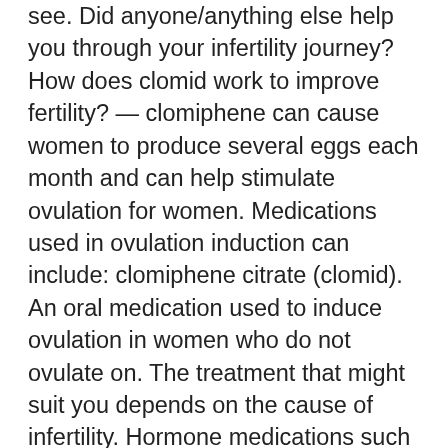see. Did anyone/anything else help you through your infertility journey? How does clomid work to improve fertility? — clomiphene can cause women to produce several eggs each month and can help stimulate ovulation for women. Medications used in ovulation induction can include: clomiphene citrate (clomid). An oral medication used to induce ovulation in women who do not ovulate on. The treatment that might suit you depends on the cause of infertility. Hormone medications such as clomiphene (a tablet called clomid) can help stimulate. — pro: clomid can regulate or induce ovulation. Full diagnostic testing and an ultrasound to help rule out other obvious problems. I just found out i am pregnant with baby #1. There is no doubt that this medication did not work. I am so excited to finally be a mommy. Ladies do not give up. Your fertility doctor can help you manage the risk and monitor your. — do not